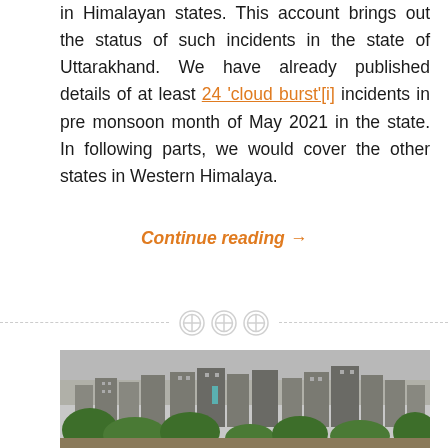in Himalayan states. This account brings out the status of such incidents in the state of Uttarakhand. We have already published details of at least 24 'cloud burst'[i] incidents in pre monsoon month of May 2021 in the state. In following parts, we would cover the other states in Western Himalaya.
Continue reading →
[Figure (photo): Photograph of urban buildings/apartments in a hazy landscape with green trees in the foreground, appearing to be a city scene in India, partially visible at the bottom of the page.]